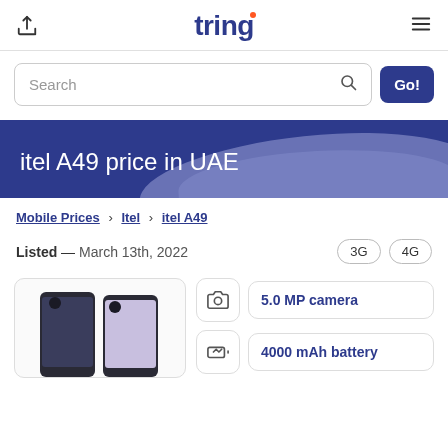tring
Search
itel A49 price in UAE
Mobile Prices > Itel > itel A49
Listed — March 13th, 2022
3G   4G
[Figure (photo): itel A49 phone image]
5.0 MP camera
4000 mAh battery